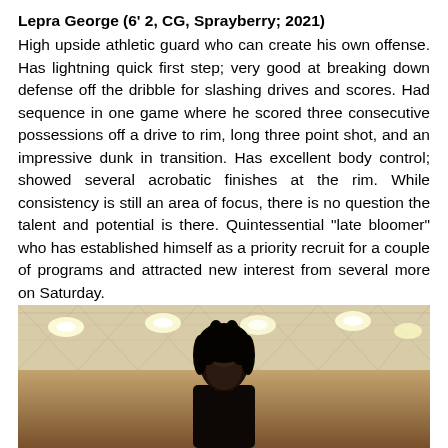Lepra George (6' 2, CG, Sprayberry; 2021)
High upside athletic guard who can create his own offense. Has lightning quick first step; very good at breaking down defense off the dribble for slashing drives and scores. Had sequence in one game where he scored three consecutive possessions off a drive to rim, long three point shot, and an impressive dunk in transition. Has excellent body control; showed several acrobatic finishes at the rim. While consistency is still an area of focus, there is no question the talent and potential is there. Quintessential "late bloomer" who has established himself as a priority recruit for a couple of programs and attracted new interest from several more on Saturday.
[Figure (photo): Photo of Lepra George in a gymnasium, showing his head and upper body. The gym has ceiling lights visible in the background.]